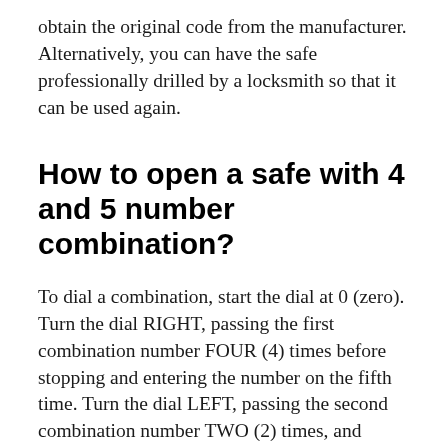obtain the original code from the manufacturer. Alternatively, you can have the safe professionally drilled by a locksmith so that it can be used again.
How to open a safe with 4 and 5 number combination?
To dial a combination, start the dial at 0 (zero). Turn the dial RIGHT, passing the first combination number FOUR (4) times before stopping and entering the number on the fifth time. Turn the dial LEFT, passing the second combination number TWO (2) times, and stopping at the number on the third time.